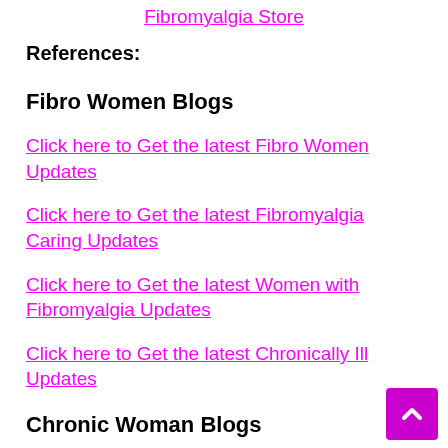Fibromyalgia Store
References:
Fibro Women Blogs
Click here to Get the latest Fibro Women Updates
Click here to Get the latest Fibromyalgia Caring Updates
Click here to Get the latest Women with Fibromyalgia Updates
Click here to Get the latest Chronically Ill Updates
Chronic Woman Blogs